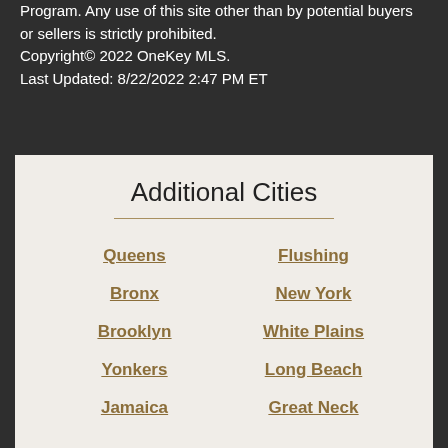Program. Any use of this site other than by potential buyers or sellers is strictly prohibited.
Copyright© 2022 OneKey MLS.
Last Updated: 8/22/2022 2:47 PM ET
Additional Cities
Queens
Flushing
Bronx
New York
Brooklyn
White Plains
Yonkers
Long Beach
Jamaica
Great Neck
Additional Zip Codes